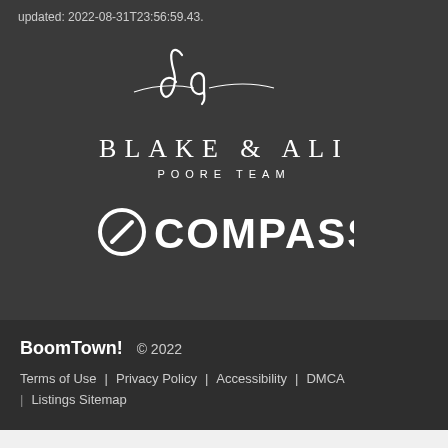updated: 2022-08-31T23:56:59.43.
[Figure (logo): Blake & Ali Poore Team with Compass real estate logo on dark background. Scripted 'ba' monogram above 'BLAKE & ALI' in serif text, 'POORE TEAM' in spaced sans-serif, and 'COMPASS' logo with circle-compass icon.]
BoomTown! © 2022 Terms of Use | Privacy Policy | Accessibility | DMCA | Listings Sitemap
Take a Tour
Ask A Question